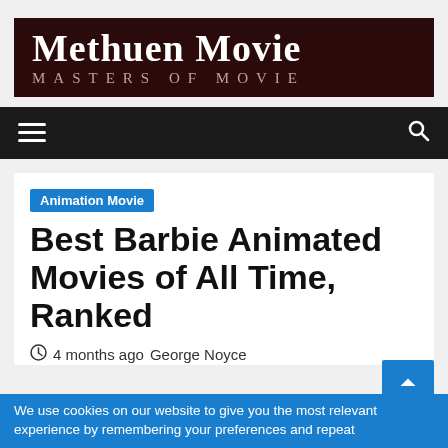[Figure (logo): Methuen Movie site logo with dark red background, white bold serif title 'Methuen Movie' and subtitle 'MASTERS OF MOVIE' in spaced small caps]
Navigation bar with hamburger menu icon and search icon
Animation Movie
Best Barbie Animated Movies of All Time, Ranked
4 months ago  George Noyce
We use cookies on our website to give you the most relevant experience by remembering your preferences and repeat